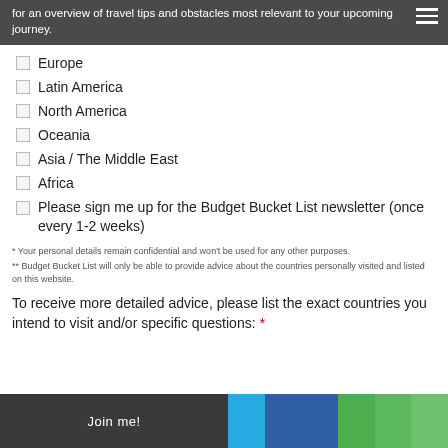for an overview of travel tips and obstacles most relevant to your upcoming journey.
Europe
Latin America
North America
Oceania
Asia / The Middle East
Africa
Please sign me up for the Budget Bucket List newsletter (once every 1-2 weeks)
* Your personal details remain confidential and won't be used for any other purposes.
** Budget Bucket List will only be able to provide advice about the countries personally visited and listed on this website.
To receive more detailed advice, please list the exact countries you intend to visit and/or specific questions: *
Join me!